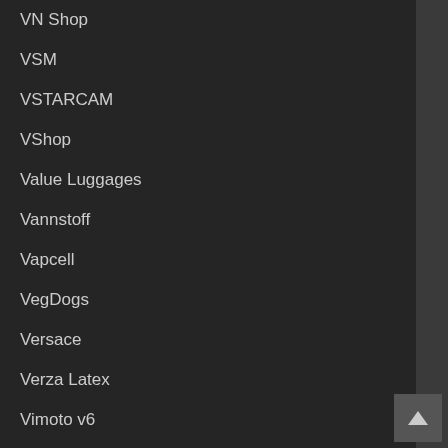VN Shop
VSM
VSTARCAM
VShop
Value Luggages
Vannstoff
Vapcell
VegDogs
Versace
Verza Latex
Vimoto v6
Vinn Compressor
Viper Thailand
Visa Autoshop